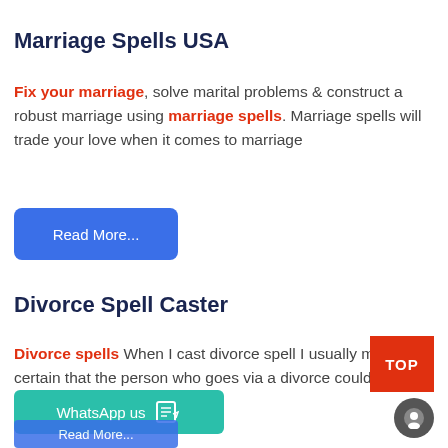Marriage Spells USA
Fix your marriage, solve marital problems & construct a robust marriage using marriage spells. Marriage spells will trade your love when it comes to marriage
Read More...
Divorce Spell Caster
Divorce spells When I cast divorce spell I usually make certain that the person who goes via a divorce could be glad in the future.
WhatsApp us
Read More...